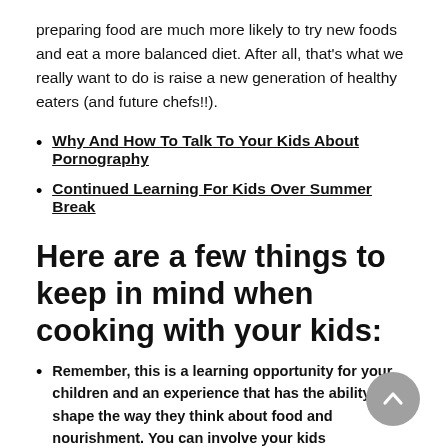preparing food are much more likely to try new foods and eat a more balanced diet. After all, that's what we really want to do is raise a new generation of healthy eaters (and future chefs!!).
Why And How To Talk To Your Kids About Pornography
Continued Learning For Kids Over Summer Break
Here are a few things to keep in mind when cooking with your kids:
Remember, this is a learning opportunity for your children and an experience that has the ability to shape the way they think about food and nourishment. You can involve your kids